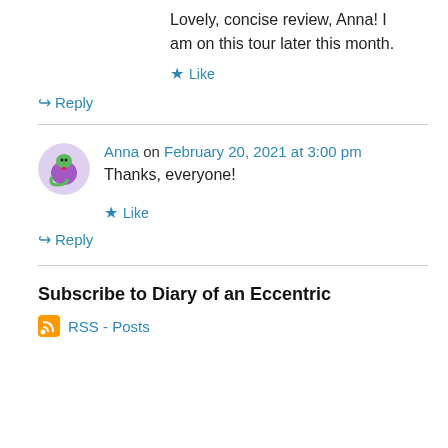Lovely, concise review, Anna! I am on this tour later this month.
★ Like
↪ Reply
Anna on February 20, 2021 at 3:00 pm
Thanks, everyone!
★ Like
↪ Reply
Subscribe to Diary of an Eccentric
RSS - Posts